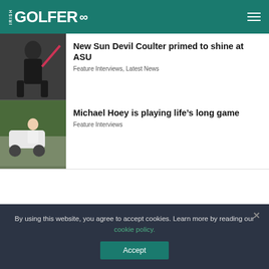IRISH GOLFER
[Figure (photo): Golfer swinging a club, dark clothing, pink/red club shaft visible]
New Sun Devil Coulter primed to shine at ASU
Feature Interviews, Latest News
[Figure (photo): Michael Hoey sitting on a golf cart, wearing white shirt]
Michael Hoey is playing life’s long game
Feature Interviews
By using this website, you agree to accept cookies. Learn more by reading our cookie policy.
Accept